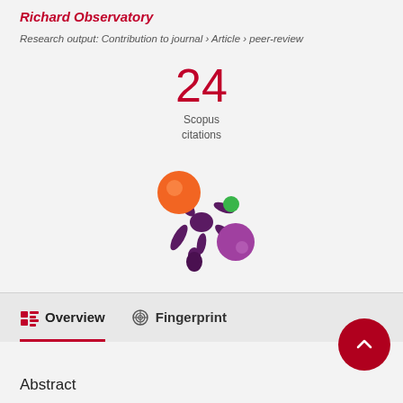Richard Observatory
Research output: Contribution to journal › Article › peer-review
24 Scopus citations
[Figure (logo): Altmetric donut/splat logo with orange, green, and purple circles]
Overview
Fingerprint
Abstract